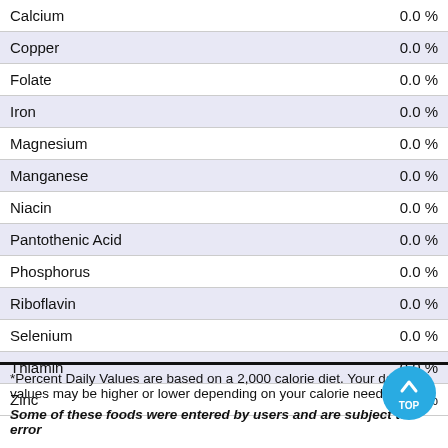| Nutrient | % Daily Value |
| --- | --- |
| Calcium | 0.0 % |
| Copper | 0.0 % |
| Folate | 0.0 % |
| Iron | 0.0 % |
| Magnesium | 0.0 % |
| Manganese | 0.0 % |
| Niacin | 0.0 % |
| Pantothenic Acid | 0.0 % |
| Phosphorus | 0.0 % |
| Riboflavin | 0.0 % |
| Selenium | 0.0 % |
| Thiamin | 0.0 % |
| Zinc | 0.0 % |
*Percent Daily Values are based on a 2,000 calorie diet. Your daily values may be higher or lower depending on your calorie needs.
Some of these foods were entered by users and are subject to error